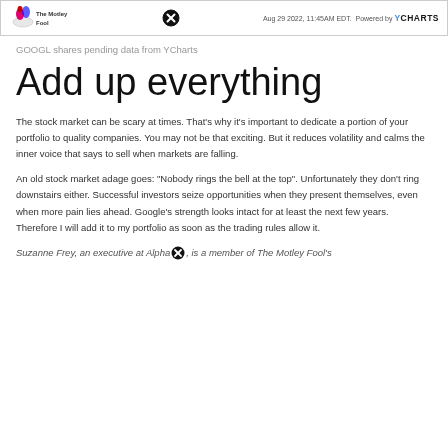The Motley Fool | Aug 29 2022, 11:45AM EDT. Powered by YCHARTS
GOOGL shares pending data from YCharts
Add up everything
The stock market can be scary at times. That's why it's important to dedicate a portion of your portfolio to quality companies. You may not be that exciting. But it reduces volatility and calms the inner voice that says to sell when markets are falling.
An old stock market adage goes: "Nobody rings the bell at the top". Unfortunately they don't ring downstairs either. Successful investors seize opportunities when they present themselves, even when more pain lies ahead. Google's strength looks intact for at least the next few years. Therefore I will add it to my portfolio as soon as the trading rules allow it.
Suzanne Frey, an executive at Alphabet, is a member of The Motley Fool's